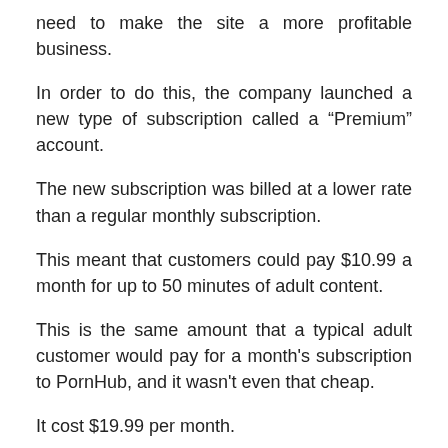need to make the site a more profitable business.
In order to do this, the company launched a new type of subscription called a “Premium” account.
The new subscription was billed at a lower rate than a regular monthly subscription.
This meant that customers could pay $10.99 a month for up to 50 minutes of adult content.
This is the same amount that a typical adult customer would pay for a month's subscription to PornHub, and it wasn't even that cheap.
It cost $19.99 per month.